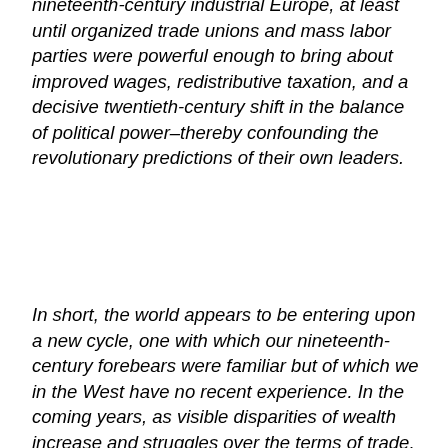nineteenth-century industrial Europe, at least until organized trade unions and mass labor parties were powerful enough to bring about improved wages, redistributive taxation, and a decisive twentieth-century shift in the balance of political power–thereby confounding the revolutionary predictions of their own leaders.
In short, the world appears to be entering upon a new cycle, one with which our nineteenth-century forebears were familiar but of which we in the West have no recent experience. In the coming years, as visible disparities of wealth increase and struggles over the terms of trade, the location of employment, and the control of scarce natural resources all become more acute, we are likely to hear more, not less, about inequality, injustice, unfairness, and exploitation–at home but especially abroad. And thus, as we lose sight of communism (already in Eastern Europe